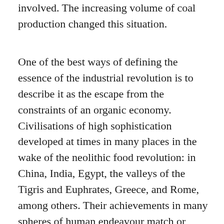involved. The increasing volume of coal production changed this situation.
One of the best ways of defining the essence of the industrial revolution is to describe it as the escape from the constraints of an organic economy. Civilisations of high sophistication developed at times in many places in the wake of the neolithic food revolution: in China, India, Egypt, the valleys of the Tigris and Euphrates, Greece, and Rome, among others. Their achievements in many spheres of human endeavour match or surpass those of modern societies; in literature, painting, sculpture, and